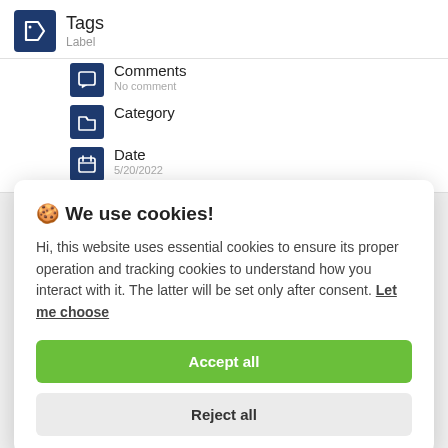Tags
Label
Comments
No comment
Category
Date
5/20/2022
🍪 We use cookies!
Hi, this website uses essential cookies to ensure its proper operation and tracking cookies to understand how you interact with it. The latter will be set only after consent. Let me choose
Accept all
Reject all